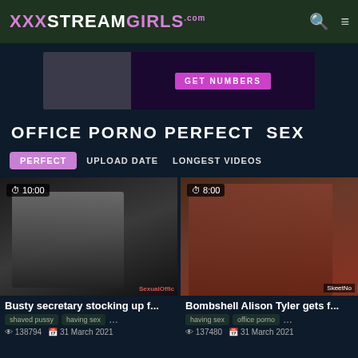XXXSTREAMGIRLS.com
[Figure (screenshot): Ad banner partially visible]
OFFICE PORNO PERFECT  SEX
PERFECT | UPLOAD DATE | LONGEST VIDEOS
[Figure (screenshot): Video thumbnail: Busty secretary stocking up f... Duration: 10:00, watermark: SexualOffic]
Busty secretary stocking up f...
shaved pussy  having sex  ...
138794  31 March 2021
[Figure (screenshot): Video thumbnail: Bombshell Alison Tyler gets f... Duration: 8:00, watermark: SkeetNo]
Bombshell Alison Tyler gets f...
having sex  office porno  ...
137480  31 March 2021